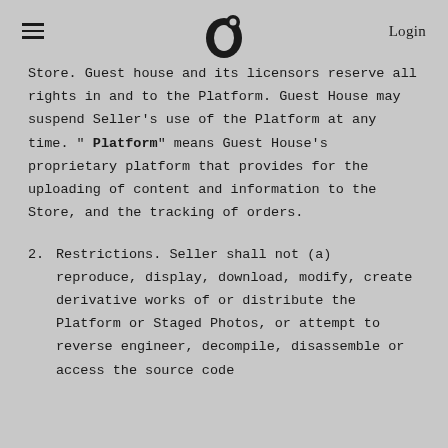≡  [Guest House Logo]  Login
Store. Guest house and its licensors reserve all rights in and to the Platform. Guest House may suspend Seller's use of the Platform at any time. " Platform" means Guest House's proprietary platform that provides for the uploading of content and information to the Store, and the tracking of orders.
2. Restrictions. Seller shall not (a) reproduce, display, download, modify, create derivative works of or distribute the Platform or Staged Photos, or attempt to reverse engineer, decompile, disassemble or access the source code